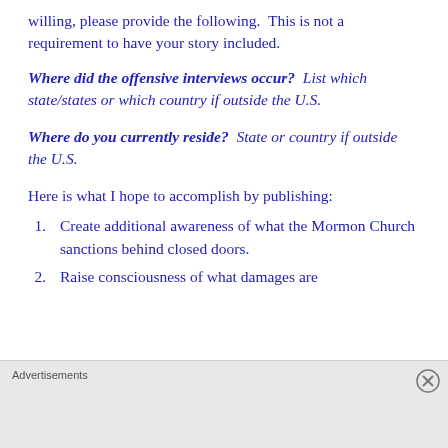willing, please provide the following. This is not a requirement to have your story included.
Where did the offensive interviews occur? List which state/states or which country if outside the U.S.
Where do you currently reside? State or country if outside the U.S.
Here is what I hope to accomplish by publishing:
Create additional awareness of what the Mormon Church sanctions behind closed doors.
Raise consciousness of what damages are
Advertisements